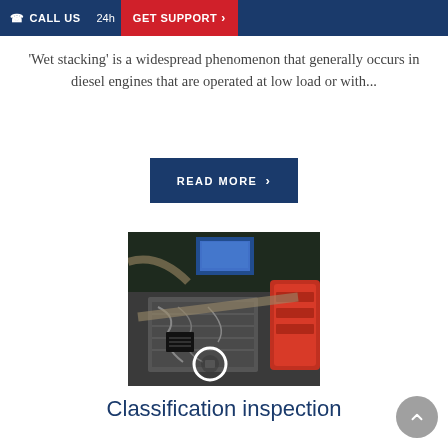CALL US  24h  GET SUPPORT
'Wet stacking' is a widespread phenomenon that generally occurs in diesel engines that are operated at low load or with...
READ MORE >
[Figure (photo): Close-up photograph of a diesel engine interior showing mechanical components, wiring, a digital display screen in the background, a red component on the right, and a white circle highlighting a specific part near the bottom center.]
Classification inspection